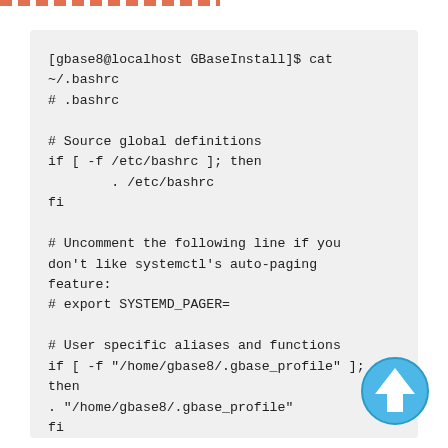[Figure (other): Dashed orange/red horizontal line decoration at top of page]
[gbase8@localhost GBaseInstall]$ cat ~/.bashrc
# .bashrc

# Source global definitions
if [ -f /etc/bashrc ]; then
        . /etc/bashrc
fi

# Uncomment the following line if you
don't like systemctl's auto-paging
feature:
# export SYSTEMD_PAGER=

# User specific aliases and functions
if [ -f "/home/gbase8/.gbase_profile" ];
then
. "/home/gbase8/.gbase_profile"
fi